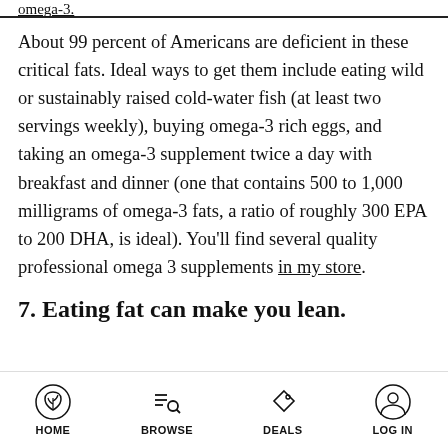omega-3.
About 99 percent of Americans are deficient in these critical fats. Ideal ways to get them include eating wild or sustainably raised cold-water fish (at least two servings weekly), buying omega-3 rich eggs, and taking an omega-3 supplement twice a day with breakfast and dinner (one that contains 500 to 1,000 milligrams of omega-3 fats, a ratio of roughly 300 EPA to 200 DHA, is ideal). You'll find several quality professional omega 3 supplements in my store.
7. Eating fat can make you lean.
HOME   BROWSE   DEALS   LOG IN